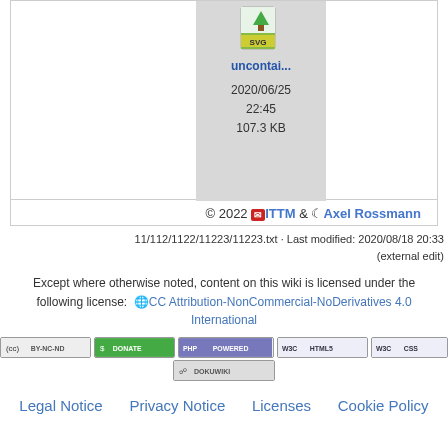[Figure (screenshot): SVG file icon with green tree image and SVG label]
uncontai...
2020/06/25 22:45 107.3 KB
© 2022 ITTM & Axel Rossmann
11/112/1122/11223/11223.txt · Last modified: 2020/08/18 20:33 (external edit)
Except where otherwise noted, content on this wiki is licensed under the following license: CC Attribution-NonCommercial-NoDerivatives 4.0 International
[Figure (logo): CC BY-NC-ND badge]
[Figure (logo): Donate badge]
[Figure (logo): PHP Powered badge]
[Figure (logo): WSC HTML5 badge]
[Figure (logo): WSC CSS badge]
[Figure (logo): DokuWiki badge]
Legal Notice   Privacy Notice   Licenses   Cookie Policy